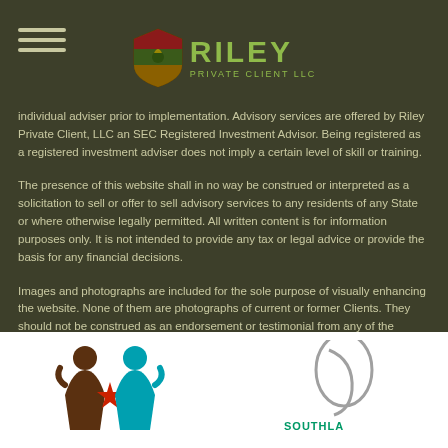Riley Private Client LLC
individual adviser prior to implementation. Advisory services are offered by Riley Private Client, LLC an SEC Registered Investment Advisor. Being registered as a registered investment adviser does not imply a certain level of skill or training.
The presence of this website shall in no way be construed or interpreted as a solicitation to sell or offer to sell advisory services to any residents of any State or where otherwise legally permitted. All written content is for information purposes only. It is not intended to provide any tax or legal advice or provide the basis for any financial decisions.
Images and photographs are included for the sole purpose of visually enhancing the website. None of them are photographs of current or former Clients. They should not be construed as an endorsement or testimonial from any of the persons in the photograph.
Proud Member Of
[Figure (logo): Two member organization logos on white background: a people/figures logo and a Southlake area organization logo]